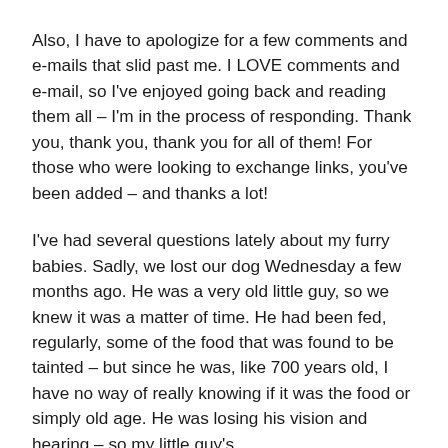Also, I have to apologize for a few comments and e-mails that slid past me. I LOVE comments and e-mail, so I've enjoyed going back and reading them all – I'm in the process of responding. Thank you, thank you, thank you for all of them! For those who were looking to exchange links, you've been added – and thanks a lot!
I've had several questions lately about my furry babies. Sadly, we lost our dog Wednesday a few months ago. He was a very old little guy, so we knew it was a matter of time. He had been fed, regularly, some of the food that was found to be tainted – but since he was, like 700 years old, I have no way of really knowing if it was the food or simply old age. He was losing his vision and hearing – so my little guy's